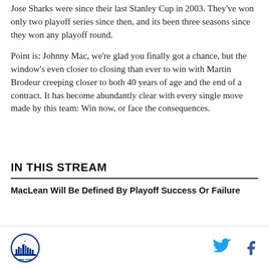Jose Sharks were since their last Stanley Cup in 2003. They've won only two playoff series since then, and its been three seasons since they won any playoff round.
Point is: Johnny Mac, we're glad you finally got a chance, but the window's even closer to closing than ever to win with Martin Brodeur creeping closer to both 40 years of age and the end of a contract. It has become abundantly clear with every single move made by this team: Win now, or face the consequences.
IN THIS STREAM
MacLean Will Be Defined By Playoff Success Or Failure
[Figure (logo): New York team logo circular badge with skyline illustration]